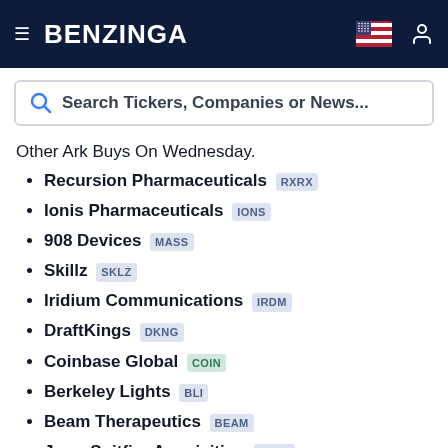BENZINGA
Search Tickers, Companies or News...
Other Ark Buys On Wednesday.
Recursion Pharmaceuticals RXRX
Ionis Pharmaceuticals IONS
908 Devices MASS
Skillz SKLZ
Iridium Communications IRDM
DraftKings DKNG
Coinbase Global COIN
Berkeley Lights BLI
Beam Therapeutics BEAM
Jaws Spitfire Acquisition SPFR
Niu Technologies NIU